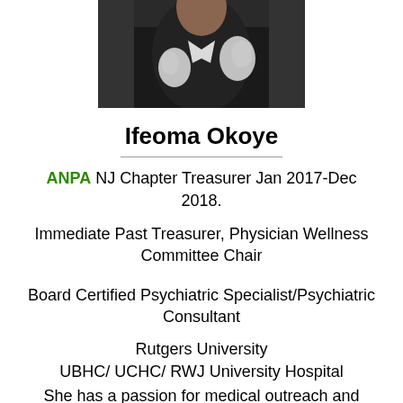[Figure (photo): Photograph of Ifeoma Okoye, partially visible upper body wearing a dark jacket with white floral pattern]
Ifeoma Okoye
ANPA NJ Chapter Treasurer Jan 2017-Dec 2018.
Immediate Past Treasurer, Physician Wellness Committee Chair
Board Certified Psychiatric Specialist/Psychiatric Consultant
Rutgers University
UBHC/ UCHC/ RWJ University Hospital
She has a passion for medical outreach and